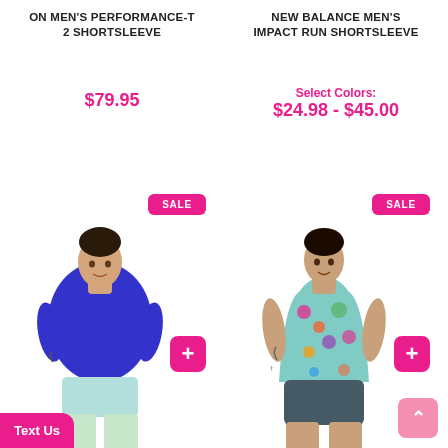ON MEN'S PERFORMANCE-T 2 SHORTSLEEVE
NEW BALANCE MEN'S IMPACT RUN SHORTSLEEVE
$79.95
Select Colors: $24.98 - $45.00
[Figure (photo): Man wearing blue short-sleeve t-shirt with SALE badge and pink plus button]
[Figure (photo): Man wearing colorful floral tank top with SALE badge and pink plus button]
Text Us
^